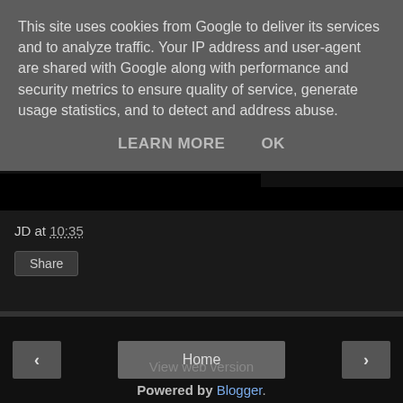This site uses cookies from Google to deliver its services and to analyze traffic. Your IP address and user-agent are shared with Google along with performance and security metrics to ensure quality of service, generate usage statistics, and to detect and address abuse.
LEARN MORE    OK
JD at 10:35
Share
‹
Home
›
View web version
Powered by Blogger.